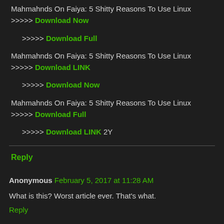Mahmahnds On Faiya: 5 Shitty Reasons To Use Linux >>>>> Download Now
>>>>> Download Full
Mahmahnds On Faiya: 5 Shitty Reasons To Use Linux >>>>> Download LINK
>>>>> Download Now
Mahmahnds On Faiya: 5 Shitty Reasons To Use Linux >>>>> Download Full
>>>>> Download LINK 2Y
Reply
Anonymous February 5, 2017 at 11:28 AM
What is this? Worst article ever. That's what.
Reply